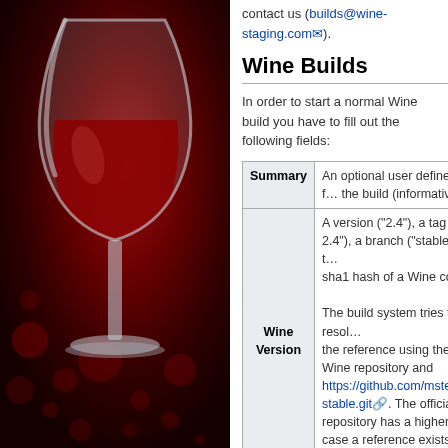[Figure (illustration): Wine glass logo on dark red background with decorative dots pattern, left panel]
contact us (builds@wine-staging.com).
Wine Builds
In order to start a normal Wine build you have to fill out the following fields:
| Field | Description |
| --- | --- |
| Summary | An optional user defined title for the build (informative only) |
| Wine Version | A version ("2.4"), a tag ("wine-2.4"), a branch ("stable") or a sha1 hash of a Wine commit.

The build system tries to resolve the reference using the official Wine repository and https://github.com/mstefani/wine-stable.git. The official repository has a higher priority in case a reference exists in both repositories. |